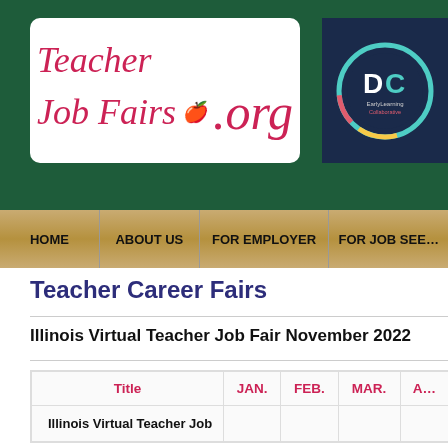[Figure (logo): TeacherJobFairs.org logo in pink/red italic text on white background]
[Figure (logo): DC EarlyLearning Collaborative circular logo on dark navy background]
HOME | ABOUT US | FOR EMPLOYER | FOR JOB SEE...
Teacher Career Fairs
Illinois Virtual Teacher Job Fair November 2022
| Title | JAN. | FEB. | MAR. | A... |
| --- | --- | --- | --- | --- |
| Illinois Virtual Teacher Job |  |  |  |  |